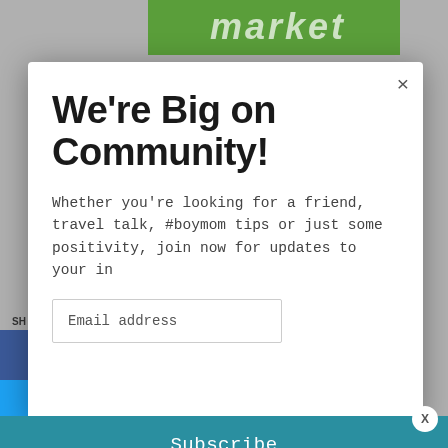[Figure (screenshot): Background of a website with green header bar showing partial 'market' logo text and gray background]
We're Big on Community!
Whether you're looking for a friend, travel talk, #boymom tips or just some positivity, join now for updates to your in
Email address
Subscribe
[Figure (screenshot): BitLife advertisement banner: FAIL text with cartoon character, flames, pill logo, and 'START A NEW LIFE' text on dark background]